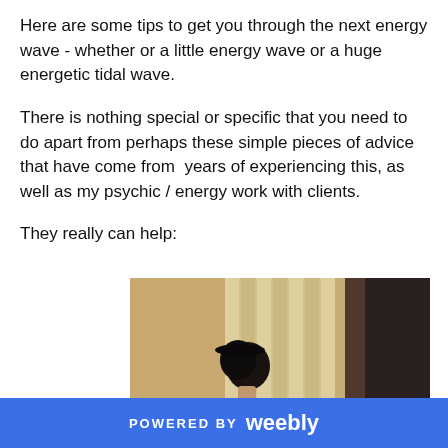Here are some tips to get you through the next energy wave - whether or a little energy wave or a huge energetic tidal wave.
There is nothing special or specific that you need to do apart from perhaps these simple pieces of advice that have come from  years of experiencing this, as well as my psychic / energy work with clients.
They really can help:
[Figure (photo): A person (seen from behind/side) with dark hair looking toward window blinds, warm toned moody photograph with dark background on the right]
POWERED BY weebly